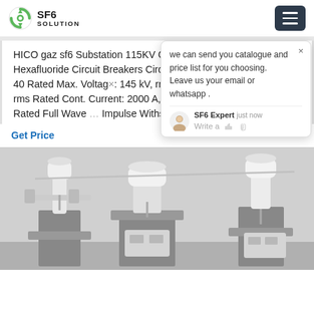SF6 SOLUTION
HICO gaz sf6 Substation 115KV Circuit Breakers, QTY 8 Hexafluoride Circuit Breakers Circuit Breaker Type: 145 HCBS 40 Rated Max. Voltage: 145 kV, rms Rated Short Circuit Current: rms Rated Cont. Current: 2000 A, rms Rated Frequency: 60 Hz Rated Full Wave Impulse Withstand Voltage: 650 kV,
Get Price
we can send you catalogue and price list for you choosing.
Leave us your email or whatsapp .
[Figure (photo): SF6 circuit breaker equipment in a substation, showing large white cylindrical insulators and switching gear mounted on metal frames in an industrial building]